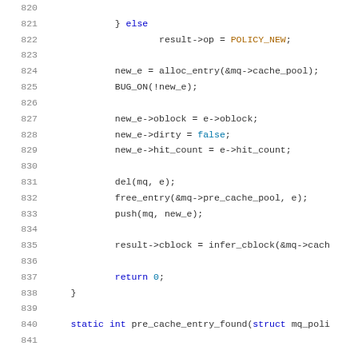Source code listing, lines 820–841, showing C code for cache policy logic including alloc_entry, BUG_ON, del, free_entry, push, infer_cblock, return 0, and function definition pre_cache_entry_found.